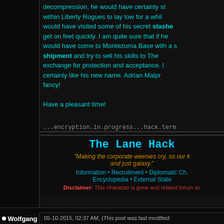decompression, he would have certainly stayed within Liberty Rogues to lay low for a while, would have visited some of his secret stashes to get on feet quickly. I am quite sure that if he would have come to Montezuma Base with a shipment and try to sell his skills to The exchange for protection and acceptance. I certainly like his new name. Adrian Malpr fancy!

Have a pleasant time!
...encryption.in.progress...hack.term
The Lane Hack
"Making the corporate weenies cry, so our k and just galaxy."
Information • Recruitment • Diplomatic Ch. Encyclopedia • External State
Disclaimer: This character is gone and related forum ac
Wolfgang
05-10-2015, 02:37 AM, (This post was last modified: